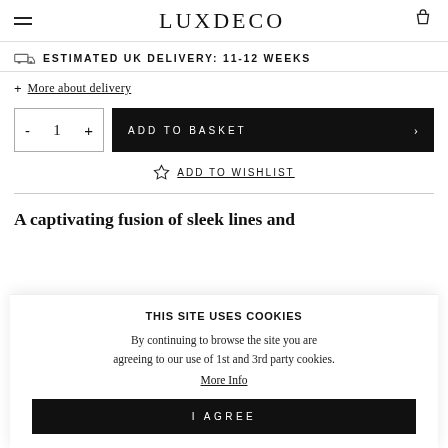LUXDECO
ESTIMATED UK DELIVERY: 11-12 WEEKS
+ More about delivery
- 1 +  ADD TO BASKET >
☆ ADD TO WISHLIST
A captivating fusion of sleek lines and
THIS SITE USES COOKIES
By continuing to browse the site you are agreeing to our use of 1st and 3rd party cookies.
More Info
I AGREE